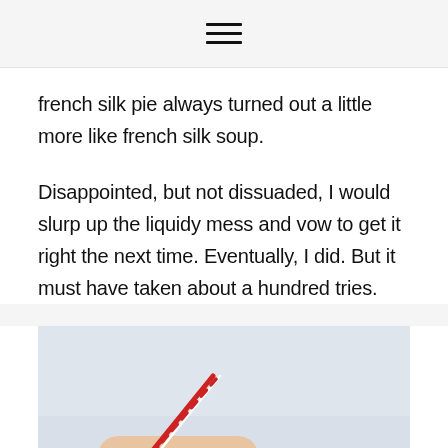≡
french silk pie always turned out a little more like french silk soup.
Disappointed, but not dissuaded, I would slurp up the liquidy mess and vow to get it right the next time. Eventually, I did. But it must have taken about a hundred tries.
[Figure (photo): Close-up photo of a hand holding a thin red and white item (possibly a candy cane or decorative stick) against a light grey/white background.]